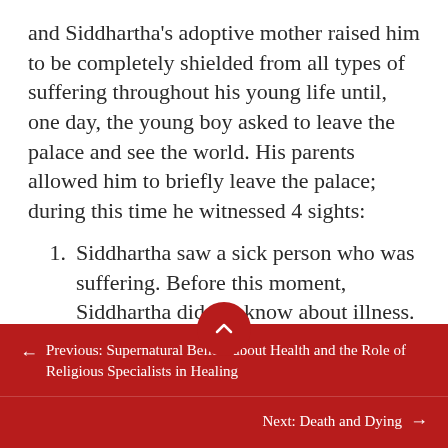and Siddhartha's adoptive mother raised him to be completely shielded from all types of suffering throughout his young life until, one day, the young boy asked to leave the palace and see the world. His parents allowed him to briefly leave the palace; during this time he witnessed 4 sights:
Siddhartha saw a sick person who was suffering. Before this moment, Siddhartha did not know about illness.
Siddhartha then saw an old person and was shocked because he had never before
← Previous: Supernatural Beliefs about Health and the Role of Religious Specialists in Healing
Next: Death and Dying →